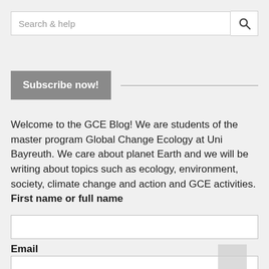Search & help
Subscribe now!
Welcome to the GCE Blog! We are students of the master program Global Change Ecology at Uni Bayreuth. We care about planet Earth and we will be writing about topics such as ecology, environment, society, climate change and action and GCE activities.
First name or full name
Email
By continuing, you accept the privacy policy